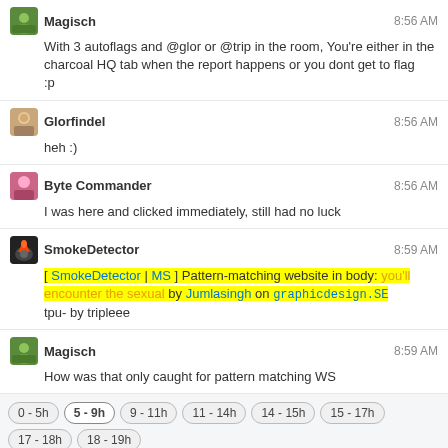Magisch 8:56 AM — With 3 autoflags and @glor or @trip in the room, You're either in the charcoal HQ tab when the report happens or you dont get to flag :p
Glorfindel 8:56 AM — heh :)
Byte Commander 8:56 AM — I was here and clicked immediately, still had no luck
SmokeDetector 8:59 AM — [ SmokeDetector | MS ] Pattern-matching website in body: you'll encounter the sexual by Jumlasingh on graphicdesign.SE — tpu- by tripleee
Magisch 8:59 AM — How was that only caught for pattern matching WS
Time ranges: 0-5h, 5-9h (active), 9-11h, 11-14h, 14-15h, 15-17h, 17-18h, 18-19h, 19-21h, 21-0h
Navigation: ← prev day | next day → | last day »
join this room